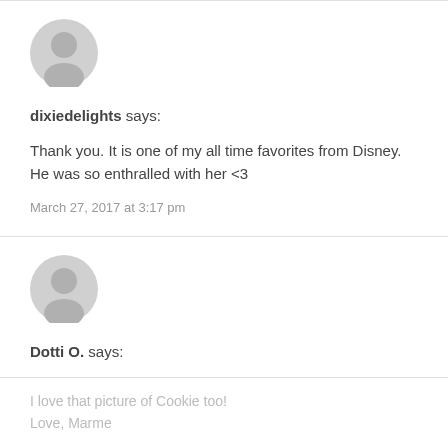[Figure (illustration): Gray default user avatar icon (circular person silhouette on light gray background)]
dixiedelights says:
Thank you. It is one of my all time favorites from Disney. He was so enthralled with her <3
March 27, 2017 at 3:17 pm
[Figure (illustration): Gray default user avatar icon (circular person silhouette on light gray background)]
Dotti O. says:
I love that picture of Cookie too!
Love, Marme